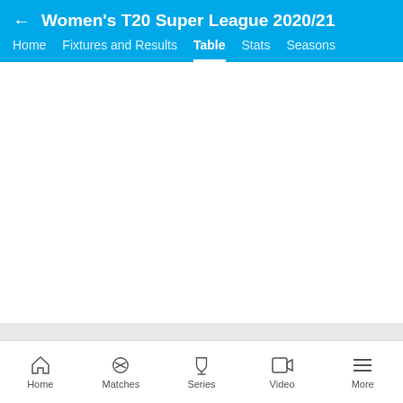Women's T20 Super League 2020/21
Home | Fixtures and Results | Table | Stats | Seasons
Terms of Use | Privacy Policy | Your California Privacy Rights | Children's Online Privacy Policy | Interest - Based Ads | Do Not Sell My Personal Information | Feedback
© 2022 ESPN Sports Media Ltd. All rights reserved
Home | Matches | Series | Video | More